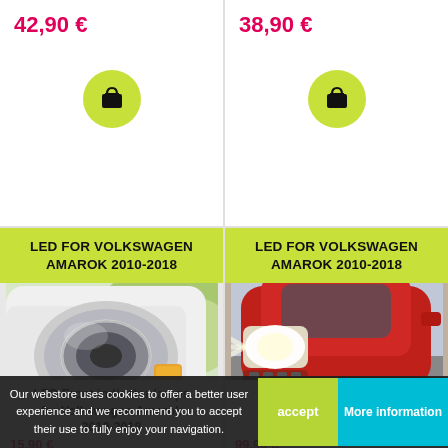42,90 €
[Figure (illustration): Shopping cart/bag icon in a green circle button]
38,90 €
[Figure (illustration): Shopping cart/bag icon in a green circle button]
LED FOR VOLKSWAGEN AMAROK 2010-2018
[Figure (photo): Close-up of a white car headlight with orange indicator]
LED Front indicator lamps for Volkswagen Amarok 2010-2018
19,90 €
LED FOR VOLKSWAGEN AMAROK 2010-2018
[Figure (photo): Red car front with bright LED headlight beam, driving on road]
LED Low beam headlights kit for Volkswagen Amarok 2010-2018
99,90 €
Our webstore uses cookies to offer a better user experience and we recommend you to accept their use to fully enjoy your navigation.
accept
More information